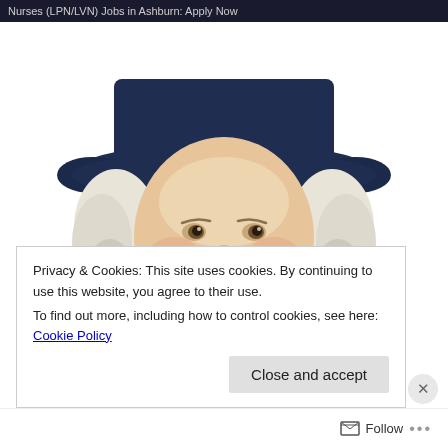Nurses (LPN/LVN) Jobs in Ashburn: Apply Now
[Figure (illustration): Illustrated portrait of the Quaker Oats man — a smiling man with white curly hair, wearing a dark navy wide-brimmed Quaker hat and dark navy coat with white ruffled cravat, depicted from the shoulders up against a white background.]
Privacy & Cookies: This site uses cookies. By continuing to use this website, you agree to their use.
To find out more, including how to control cookies, see here: Cookie Policy
Close and accept
Follow ...